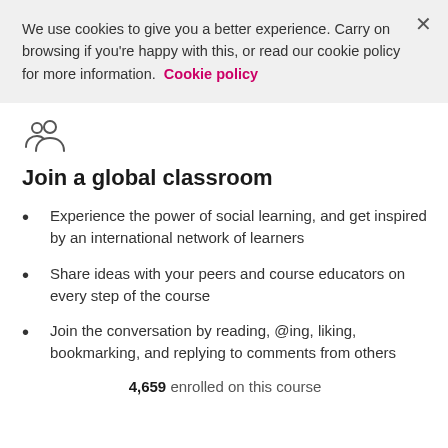We use cookies to give you a better experience. Carry on browsing if you're happy with this, or read our cookie policy for more information. Cookie policy
[Figure (illustration): Icon of two people representing a group or classroom community]
Join a global classroom
Experience the power of social learning, and get inspired by an international network of learners
Share ideas with your peers and course educators on every step of the course
Join the conversation by reading, @ing, liking, bookmarking, and replying to comments from others
4,659 enrolled on this course